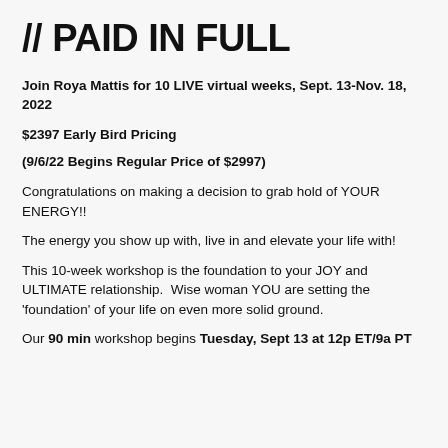// PAID IN FULL
Join Roya Mattis for 10 LIVE virtual weeks, Sept. 13-Nov. 18, 2022
$2397 Early Bird Pricing
(9/6/22 Begins Regular Price of $2997)
Congratulations on making a decision to grab hold of YOUR ENERGY!!
The energy you show up with, live in and elevate your life with!
This 10-week workshop is the foundation to your JOY and ULTIMATE relationship.  Wise woman YOU are setting the 'foundation' of your life on even more solid ground.
Our 90 min workshop begins Tuesday, Sept 13 at 12p ET/9a PT